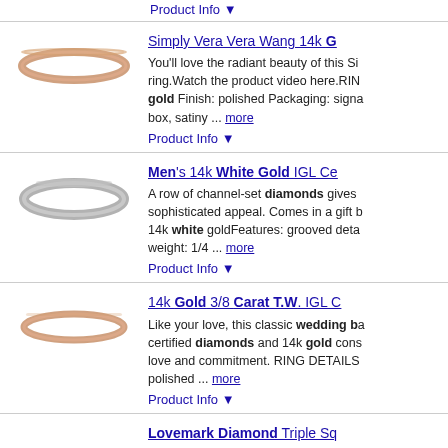Product Info ▼
[Figure (photo): Rose gold diamond wedding band ring]
Simply Vera Vera Wang 14k G...
You'll love the radiant beauty of this Si... ring.Watch the product video here.RIN... gold Finish: polished Packaging: signa... box, satiny ... more
Product Info ▼
[Figure (photo): Men's 14k white gold diamond wedding band]
Men's 14k White Gold IGL Ce...
A row of channel-set diamonds gives ... sophisticated appeal. Comes in a gift b... 14k white goldFeatures: grooved deta... weight: 1/4 ... more
Product Info ▼
[Figure (photo): 14k gold diamond wedding band ring]
14k Gold 3/8 Carat T.W. IGL C...
Like your love, this classic wedding ba... certified diamonds and 14k gold cons... love and commitment. RING DETAILS... polished ... more
Product Info ▼
[Figure (photo): Lovemark Diamond Triple Square engagement ring]
Lovemark Diamond Triple Sq...
Simply exquisite, this diamond enga... round-cut diamonds in a triple square... engagement ring will take her breath a... 10k white ... more